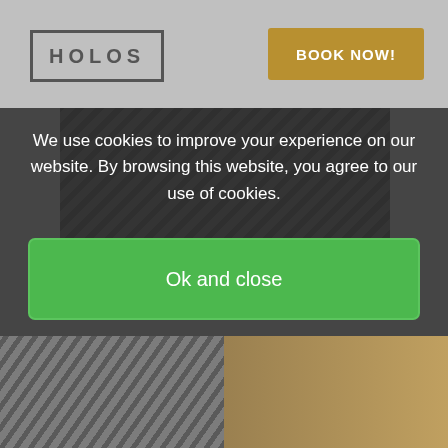[Figure (screenshot): Website header with HOLOS logo on left and gold BOOK NOW! button on right, against a light gray background]
We use cookies to improve your experience on our website. By browsing this website, you agree to our use of cookies.
Ok and close
Decline
More Info
[Figure (photo): Bottom strip showing two photos: left side with metal slat ceiling/pergola structure and right side with wooden/bamboo screen fence]